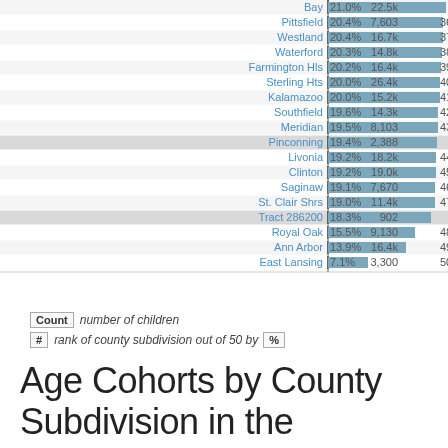[Figure (bar-chart): Age Cohorts by County Subdivision in the Midwest]
Count  number of children
#  rank of county subdivision out of 50 by  %
Age Cohorts by County Subdivision in the Midwest